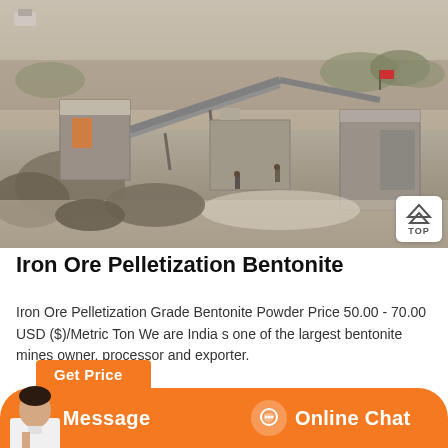[Figure (photo): Aerial view of an iron ore / bentonite mining and processing facility showing conveyor belts, industrial buildings, machinery, and rocky terrain]
Iron Ore Pelletization Bentonite
Iron Ore Pelletization Grade Bentonite Powder Price 50.00 - 70.00 USD ($)/Metric Ton We are India s one of the largest bentonite mines owner, processor and exporter.
Get Price
Message
Online Chat